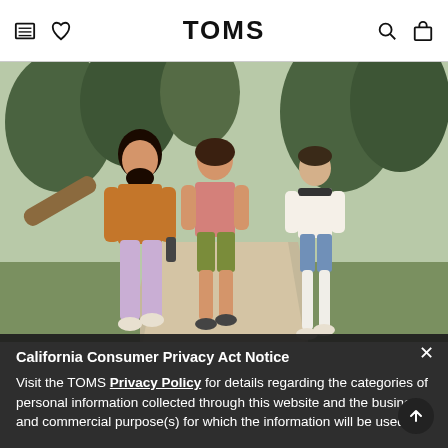TOMS
[Figure (photo): Three people walking on a dirt path outdoors surrounded by trees. Left person wears orange shirt and lavender pants, center person wears pink top and olive shorts, right person wears white graphic tee and denim shorts.]
California Consumer Privacy Act Notice
Visit the TOMS Privacy Policy for details regarding the categories of personal information collected through this website and the business and commercial purpose(s) for which the information will be used.